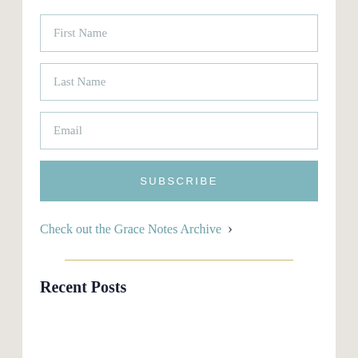[Figure (screenshot): Form input field with placeholder text 'First Name']
[Figure (screenshot): Form input field with placeholder text 'Last Name']
[Figure (screenshot): Form input field with placeholder text 'Email']
SUBSCRIBE
Check out the Grace Notes Archive >
Recent Posts